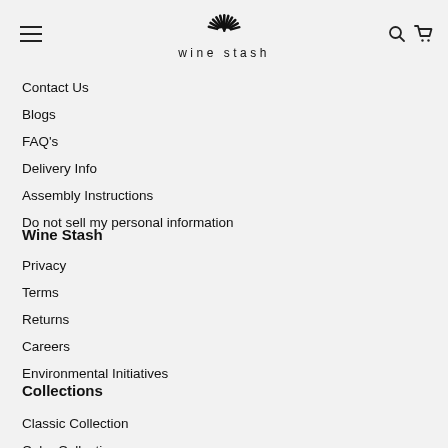wine stash
Contact Us
Blogs
FAQ's
Delivery Info
Assembly Instructions
Do not sell my personal information
Wine Stash
Privacy
Terms
Returns
Careers
Environmental Initiatives
Collections
Classic Collection
Color Collection